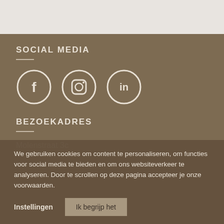SOCIAL MEDIA
[Figure (illustration): Three social media icon circles: Facebook, Instagram, LinkedIn]
BEZOEKADRES
Molenstraat 3c
We gebruiken cookies om content te personaliseren, om functies voor social media te bieden en om ons websiteverkeer te analyseren. Door te scrollen op deze pagina accepteer je onze voorwaarden.
Instellingen   Ik begrijp het